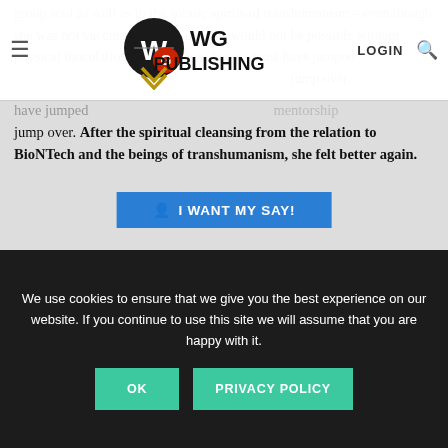WG Publishing — navigation bar with hamburger menu, logo, LOGIN
group soul as well as to the soratic spirits of transhumanism – even though she was not vaccinated. Normally this would not be possible without physical inoculation. That is, these beings must have jumped… jump over. After the spiritual cleansing from the relation to BioNTech and the beings of transhumanism, she felt better again.
I WANT MY SAY!
[Another] friend wanted to speak to me urgently. She reported that she had been beside herself for a week, had hardly any energy, had lost her goals in life and many bad feelings were coming up in her. She did not know what
We use cookies to ensure that we give you the best experience on our website. If you continue to use this site we will assume that you are happy with it.
OK   PRIVACY POLICY